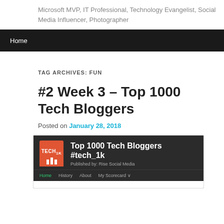Microsoft MVP, IT Professional, Technology Evangelist, Social Media Influencer, Photographer
Home
TAG ARCHIVES: FUN
#2 Week 3 – Top 1000 Tech Bloggers
Posted on January 28, 2018
[Figure (screenshot): Screenshot of the Top 1000 Tech Bloggers #tech_1k page published by Rise Social Media, showing a dark-themed interface with an orange TECH_1K logo, navigation items: Home, History, About, My Scorecard]